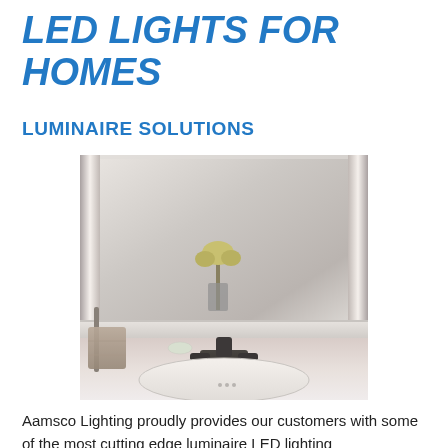LED LIGHTS FOR HOMES
LUMINAIRE SOLUTIONS
[Figure (photo): Bathroom vanity mirror with LED lighting strips on both sides, pedestal sink with faucet, towel holder, and flowers in vase reflected in mirror.]
Aamsco Lighting proudly provides our customers with some of the most cutting edge luminaire LED lighting